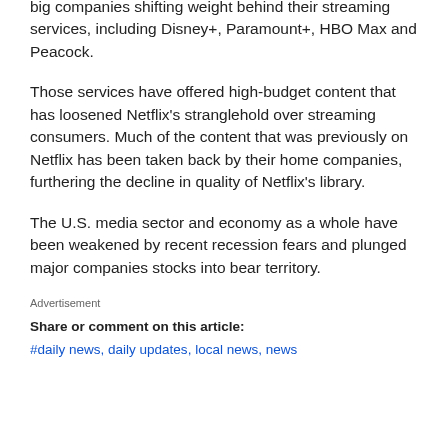big companies shifting weight behind their streaming services, including Disney+, Paramount+, HBO Max and Peacock.
Those services have offered high-budget content that has loosened Netflix's stranglehold over streaming consumers. Much of the content that was previously on Netflix has been taken back by their home companies, furthering the decline in quality of Netflix's library.
The U.S. media sector and economy as a whole have been weakened by recent recession fears and plunged major companies stocks into bear territory.
Advertisement
Share or comment on this article:
#daily news, daily updates, local news, news